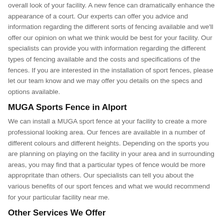overall look of your facility. A new fence can dramatically enhance the appearance of a court. Our experts can offer you advice and information regarding the different sorts of fencing available and we'll offer our opinion on what we think would be best for your facility. Our specialists can provide you with information regarding the different types of fencing available and the costs and specifications of the fences. If you are interested in the installation of sport fences, please let our team know and we may offer you details on the specs and options available.
MUGA Sports Fence in Alport
We can install a MUGA sport fence at your facility to create a more professional looking area. Our fences are available in a number of different colours and different heights. Depending on the sports you are planning on playing on the facility in your area and in surrounding areas, you may find that a particular types of fence would be more appropritate than others. Our specialists can tell you about the various benefits of our sport fences and what we would recommend for your particular facility near me.
Other Services We Offer